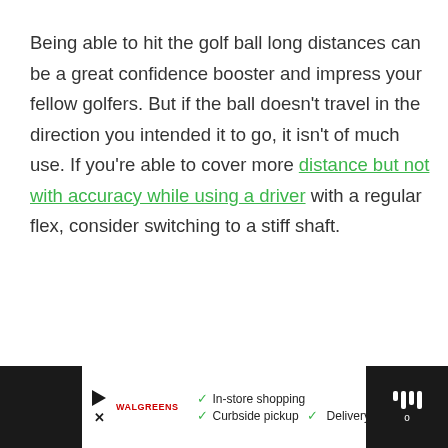Being able to hit the golf ball long distances can be a great confidence booster and impress your fellow golfers. But if the ball doesn't travel in the direction you intended it to go, it isn't of much use. If you're able to cover more distance but not with accuracy while using a driver with a regular flex, consider switching to a stiff shaft.
[Figure (other): Advertisement banner at the bottom showing store shopping options: In-store shopping, Curbside pickup, Delivery with a navigation/map icon and a podcast/audio icon]